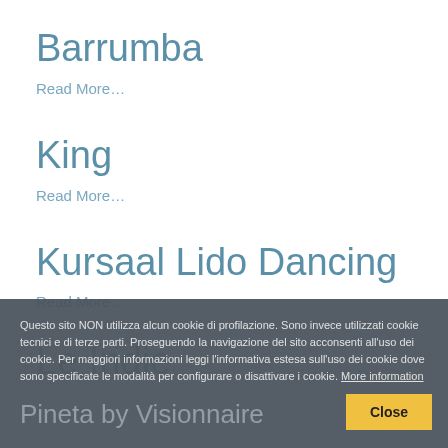Barrumba
Read More…
King
Read More…
Kursaal Lido Dancing
Read More…
Le Indie
Questo sito NON utilizza alcun cookie di profilazione. Sono invece utilizzati cookie tecnici e di terze parti. Proseguendo la navigazione del sito acconsenti all'uso dei cookie. Per maggiori informazioni leggi l'informativa estesa sull'uso dei cookie dove sono specificate le modalità per configurare o disattivare i cookie. More information
Pineta by Visionnaire